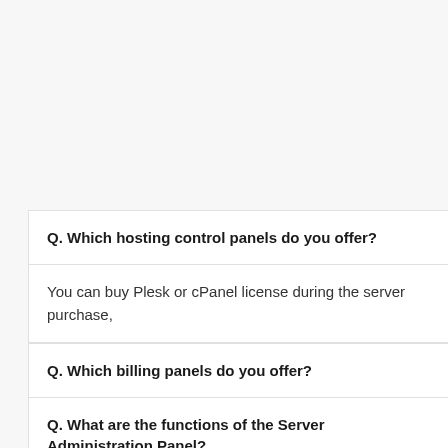Q. Which hosting control panels do you offer?
You can buy Plesk or cPanel license during the server purchase,
Q. Which billing panels do you offer?
Q. What are the functions of the Server Administration Panel?